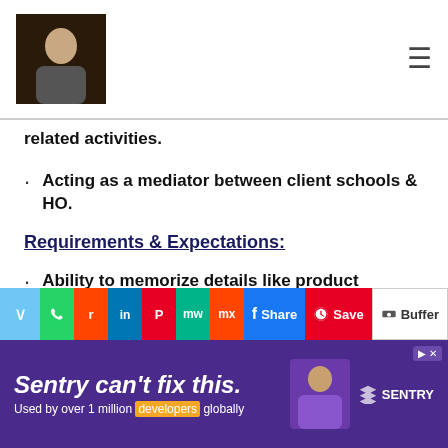[Header with photo and menu icon]
related activities.
Acting as a mediator between client schools & HO.
Requirements & Expectations:
Ability to memorize details like product specifications.
Quick learner & flexible to change.
[Figure (screenshot): Social sharing toolbar with WhatsApp, Reddit, LinkedIn, Pinterest, MeWe, Mix, Facebook Share, Pinterest Save, Buffer buttons]
[Figure (screenshot): Sentry advertisement banner: 'Sentry can't fix this. Used by over 1 million developers globally']